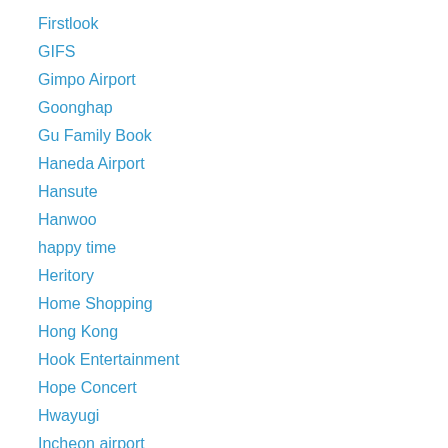Firstlook
GIFS
Gimpo Airport
Goonghap
Gu Family Book
Haneda Airport
Hansute
Hanwoo
happy time
Heritory
Home Shopping
Hong Kong
Hook Entertainment
Hope Concert
Hwayugi
Incheon airport
Instagram
Interview
Japan
Japan concert